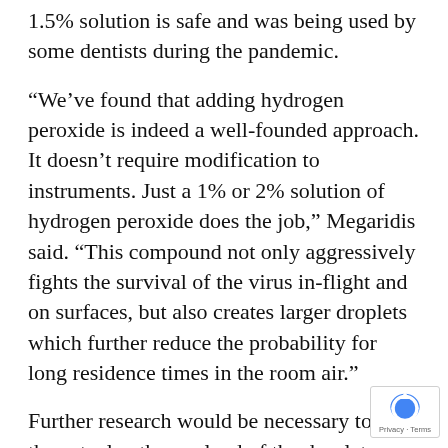1.5% solution is safe and was being used by some dentists during the pandemic.
“We’ve found that adding hydrogen peroxide is indeed a well-founded approach. It doesn’t require modification to instruments. Just a 1% or 2% solution of hydrogen peroxide does the job,” Megaridis said. “This compound not only aggressively fights the survival of the virus in-flight and on surfaces, but also creates larger droplets which further reduce the probability for long residence times in the room air.”
Further research would be necessary to find the actual pathogen load of the droplets (which depends on interactions